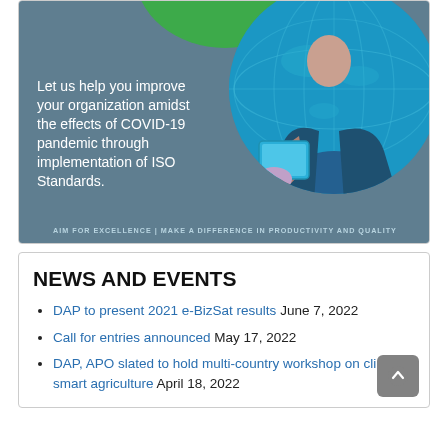[Figure (illustration): Promotional banner with teal/blue-grey background, circular photo of a person holding a tablet with a digital world map overlay, green accent circle at top, white text overlay and footer tagline. Text reads: 'Let us help you improve your organization amidst the effects of COVID-19 pandemic through implementation of ISO Standards.' Footer: 'AIM FOR EXCELLENCE | MAKE A DIFFERENCE IN PRODUCTIVITY AND QUALITY']
NEWS AND EVENTS
DAP to present 2021 e-BizSat results June 7, 2022
Call for entries announced May 17, 2022
DAP, APO slated to hold multi-country workshop on climate-smart agriculture April 18, 2022